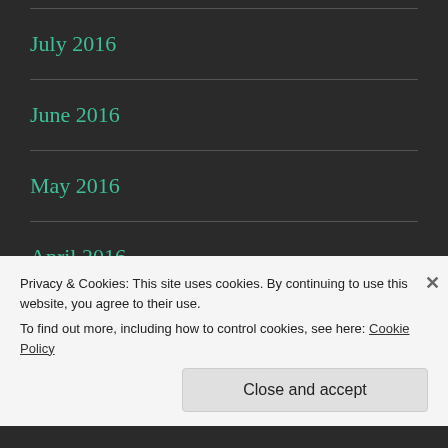July 2016
June 2016
May 2016
April 2016
March 2016
February 2016
Privacy & Cookies: This site uses cookies. By continuing to use this website, you agree to their use.
To find out more, including how to control cookies, see here: Cookie Policy
Close and accept